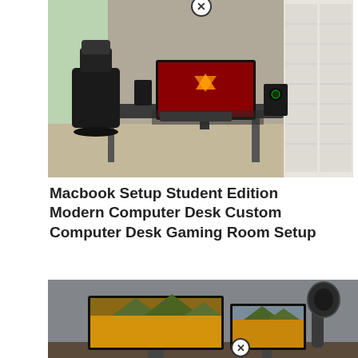[Figure (photo): Gaming/computer desk setup with black ergonomic chair, ultrawide monitor displaying orange logo on dark background, speakers, and keyboard on a dark desk in a room with window and white shuttered closet doors.]
Macbook Setup Student Edition Modern Computer Desk Custom Computer Desk Gaming Room Setup
[Figure (photo): Computer desk setup with two monitors showing mountain landscape wallpaper and a monitor arm/headphone hanger on the right, against a gray wall.]